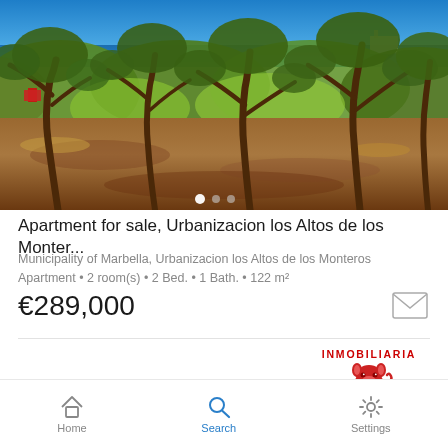[Figure (photo): Outdoor landscape photo showing olive/pine trees on a hillside with scrubby green vegetation, dry reddish-brown earth, and a blue sea and sky visible in the background. A building is visible on the right horizon.]
Apartment for sale, Urbanizacion los Altos de los Monter...
Municipality of Marbella, Urbanizacion los Altos de los Monteros
Apartment • 2 room(s) • 2 Bed. • 1 Bath. • 122 m²
€289,000
[Figure (logo): Inmobiliaria Marbella Centro logo with red pig mascot icon and red text]
Home  Search  Settings